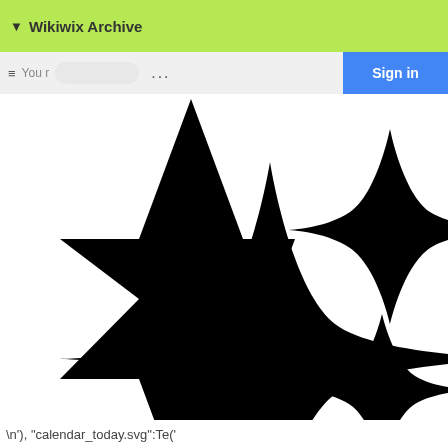▼ Wikiwix Archive
[Figure (illustration): Three four-pointed star shapes (sparkle/compass star silhouettes) in black on white background. One large star centered-left, one medium star upper-right (partially clipped), one smaller star lower-right.]
\n'), "calendar_today.svg":Te('